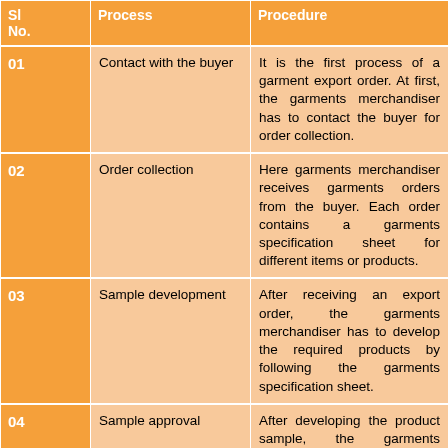| Sl No. | Process | Procedure |
| --- | --- | --- |
| 01 | Contact with the buyer | It is the first process of a garment export order. At first, the garments merchandiser has to contact the buyer for order collection. |
| 02 | Order collection | Here garments merchandiser receives garments orders from the buyer. Each order contains a garments specification sheet for different items or products. |
| 03 | Sample development | After receiving an export order, the garments merchandiser has to develop the required products by following the garments specification sheet. |
| 04 | Sample approval | After developing the product sample, the garments merchandiser sends it to the buyer for approval. |
| 05 | Costing | If the product sample is approved then the garments... |